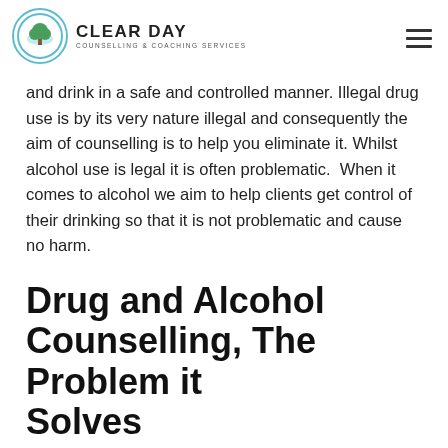CLEAR DAY COUNSELLING & COACHING SERVICES
and drink in a safe and controlled manner. Illegal drug use is by its very nature illegal and consequently the aim of counselling is to help you eliminate it. Whilst alcohol use is legal it is often problematic.  When it comes to alcohol we aim to help clients get control of their drinking so that it is not problematic and cause no harm.
Drug and Alcohol Counselling, The Problem it Solves
For people who have a drug or alcohol dependency and want to get